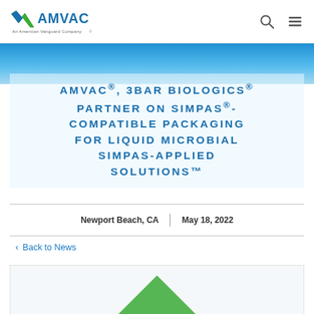AMVAC — An American Vanguard Company
AMVAC®, 3BAR BIOLOGICS® PARTNER ON SIMPAS®-COMPATIBLE PACKAGING FOR LIQUID MICROBIAL SIMPAS-APPLIED SOLUTIONS™
Newport Beach, CA  |  May 18, 2022
< Back to News